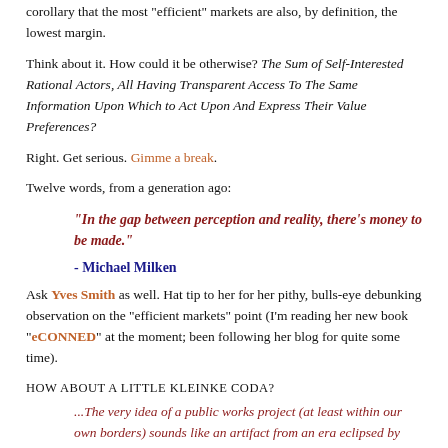corollary that the most "efficient" markets are also, by definition, the lowest margin.
Think about it. How could it be otherwise? The Sum of Self-Interested Rational Actors, All Having Transparent Access To The Same Information Upon Which to Act Upon And Express Their Value Preferences?
Right. Get serious. Gimme a break.
Twelve words, from a generation ago:
"In the gap between perception and reality, there's money to be made."
- Michael Milken
Ask Yves Smith as well. Hat tip to her for her pithy, bulls-eye debunking observation on the "efficient markets" point (I'm reading her new book "eCONNED" at the moment; been following her blog for quite some time).
HOW ABOUT A LITTLE KLEINKE CODA?
...The very idea of a public works project (at least within our own borders) sounds like an artifact from an era eclipsed by